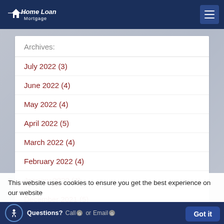Home Loan Mortgage
Archives:
July 2022 (3)
June 2022 (4)
May 2022 (4)
April 2022 (5)
March 2022 (4)
February 2022 (4)
January 2022 (4)
December 2021 (5)
This website uses cookies to ensure you get the best experience on our website
Questions? Call or Email